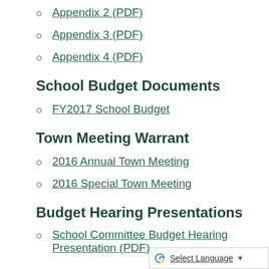Appendix 2 (PDF)
Appendix 3 (PDF)
Appendix 4 (PDF)
School Budget Documents
FY2017 School Budget
Town Meeting Warrant
2016 Annual Town Meeting
2016 Special Town Meeting
Budget Hearing Presentations
School Committee Budget Hearing Presentation (PDF)